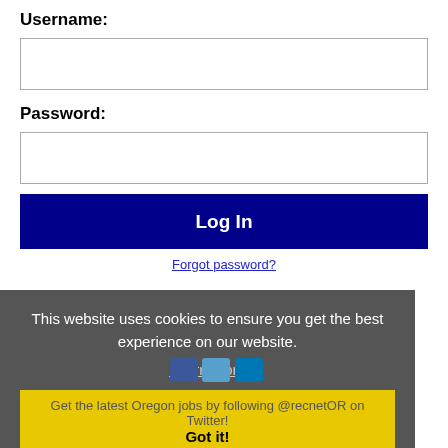Username:
[Figure (screenshot): Empty username input field]
Password:
[Figure (screenshot): Empty password input field]
Log In
Forgot password?
This website uses cookies to ensure you get the best experience on our website.
Learn more
Get the latest Oregon jobs by following @recnetOR on Twitter!
Got it!
Eugene RSS job feeds